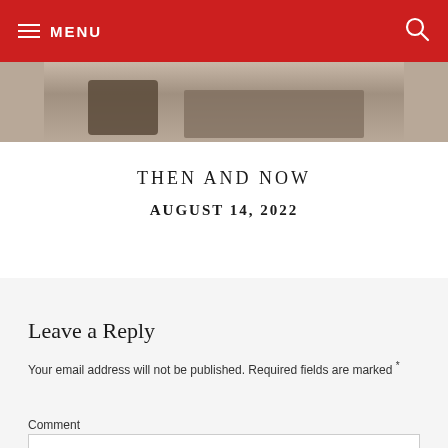MENU
[Figure (photo): Partial beach or outdoor scene showing sand and people, cropped at top]
THEN AND NOW
AUGUST 14, 2022
Leave a Reply
Your email address will not be published. Required fields are marked *
Comment